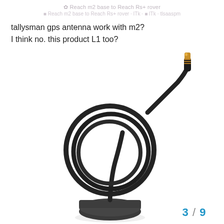Reach m2 base to Reach Rs+ rover
Reach m2 base to Reach Rs+ rover · lTk · tlsaaspm
tallysman gps antenna work with m2?
I think no. this product L1 too?
[Figure (photo): Photo of a Tallysman GPS antenna with a coiled black cable and gold/brass MCX connector tip, with a dark magnetic base visible at the bottom]
3 / 9